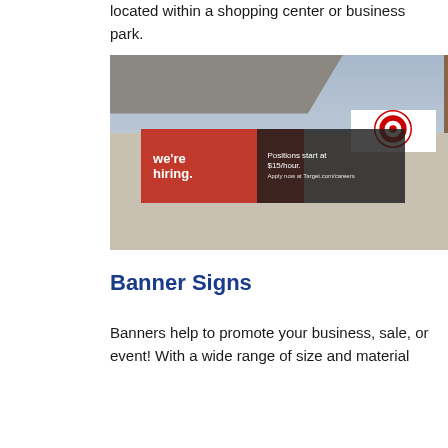located within a shopping center or business park.
[Figure (photo): Photo of a Target store exterior wall showing a red hiring banner that reads 'We're hiring.' and a dark banner reading 'Positions start at $15/hour. Apply now at Target.com/careers', along with the Target bullseye logo on a white background.]
Banner Signs
Banners help to promote your business, sale, or event! With a wide range of size and material